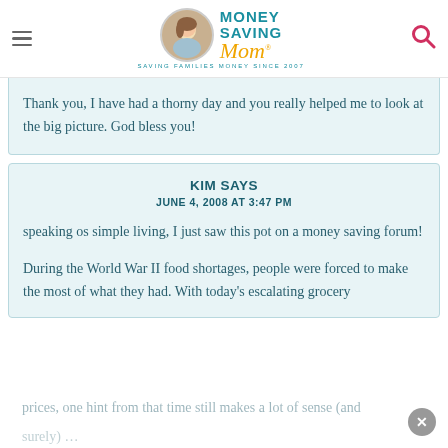Money Saving Mom® — SAVING FAMILIES MONEY SINCE 2007
Thank you, I have had a thorny day and you really helped me to look at the big picture. God bless you!
KIM SAYS
JUNE 4, 2008 AT 3:47 PM
speaking os simple living, I just saw this pot on a money saving forum!
During the World War II food shortages, people were forced to make the most of what they had. With today's escalating grocery prices, one hint from that time still makes a lot of sense (and surely) … how to turn a practical butter into a…